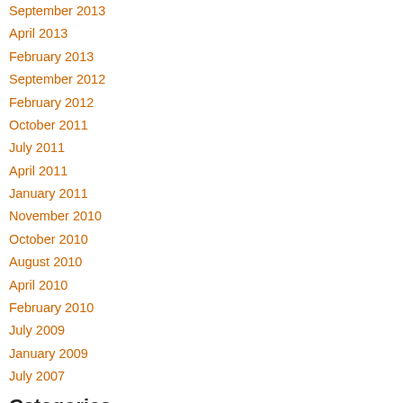September 2013
April 2013
February 2013
September 2012
February 2012
October 2011
July 2011
April 2011
January 2011
November 2010
October 2010
August 2010
April 2010
February 2010
July 2009
January 2009
July 2007
Categories
All
Abrasives
Advanced Chemical Solutions